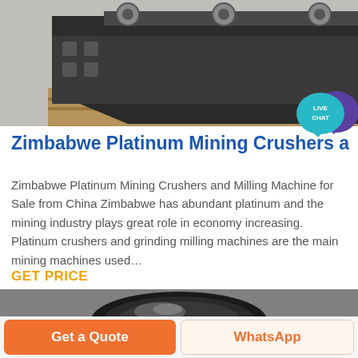[Figure (photo): Industrial mining crusher machine in a warehouse/factory setting, dark grey heavy equipment on wooden pallets]
[Figure (illustration): Live Chat speech bubble icon in teal/cyan color with purple chat bubble behind it, text says LIVE CHAT]
Zimbabwe Platinum Mining Crushers and M
Zimbabwe Platinum Mining Crushers and Milling Machine for Sale from China Zimbabwe has abundant platinum and the mining industry plays great role in economy increasing. Platinum crushers and grinding milling machines are the main mining machines used…
GET PRICE
[Figure (photo): Close-up photo of a large circular industrial grinding mill or crusher drum interior, dark metallic surface]
Get a Quote
WhatsApp